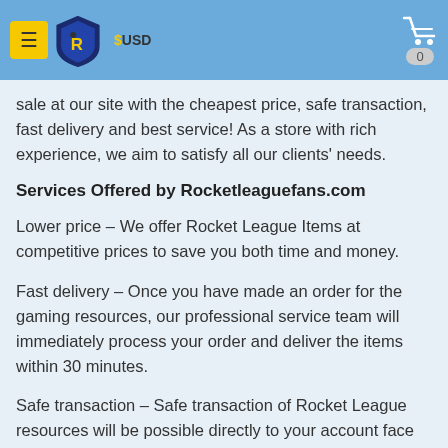within your budget is very important because … save both your … money … Rocketleaguefans.com. Unlimited number … items for
sale at our site with the cheapest price, safe transaction, fast delivery and best service! As a store with rich experience, we aim to satisfy all our clients' needs.
Services Offered by Rocketleaguefans.com
Lower price – We offer Rocket League Items at competitive prices to save you both time and money.
Fast delivery – Once you have made an order for the gaming resources, our professional service team will immediately process your order and deliver the items within 30 minutes.
Safe transaction – Safe transaction of Rocket League resources will be possible directly to your account face to face in the game. By this way, it ensures the greater security in all ways.